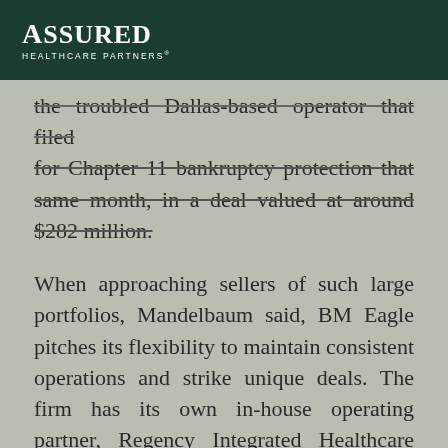ASSURED HEALTHCARE PARTNERS®
the troubled Dallas-based operator that filed for Chapter 11 bankruptcy protection that same month, in a deal valued at around $282 million.
When approaching sellers of such large portfolios, Mandelbaum said, BM Eagle pitches its flexibility to maintain consistent operations and strike unique deals. The firm has its own in-house operating partner, Regency Integrated Healthcare Services, which currently runs about 65 nursing homes in Texas; Senior Care Centers had a significant presence in the Lone Star State, though the company can fill in gaps